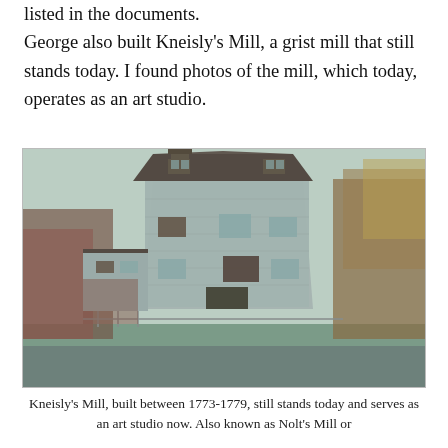listed in the documents.
George also built Kneisly's Mill, a grist mill that still stands today. I found photos of the mill, which today, operates as an art studio.
[Figure (photo): Photograph of Kneisly's Mill, a large stone building with a gabled roof, dormer windows, chimney, and trees surrounding it. The image has a vintage color cast.]
Kneisly's Mill, built between 1773-1779, still stands today and serves as an art studio now. Also known as Nolt's Mill or